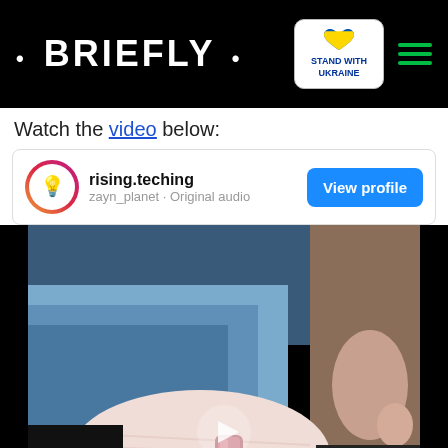• BRIEFLY •
Watch the video below:
[Figure (screenshot): Instagram embed card showing profile 'rising.teching' with subtitle 'zayn_planet · Original audio' and a 'View profile' button, followed by a video thumbnail showing a person's foot/leg area wearing a pink sock and a metallic rose-gold phone or accessory, with a play button overlay]
rising.teching — zayn_planet · Original audio